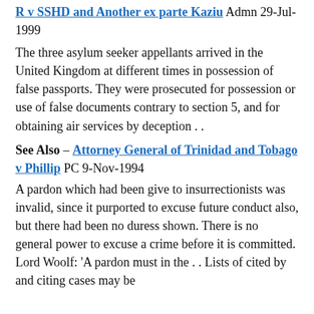R v SSHD and Another ex parte Kaziu Admn 29-Jul-1999
The three asylum seeker appellants arrived in the United Kingdom at different times in possession of false passports. They were prosecuted for possession or use of false documents contrary to section 5, and for obtaining air services by deception . .
See Also – Attorney General of Trinidad and Tobago v Phillip PC 9-Nov-1994
A pardon which had been give to insurrectionists was invalid, since it purported to excuse future conduct also, but there had been no duress shown. There is no general power to excuse a crime before it is committed. Lord Woolf: 'A pardon must in the . . Lists of cited by and citing cases may be